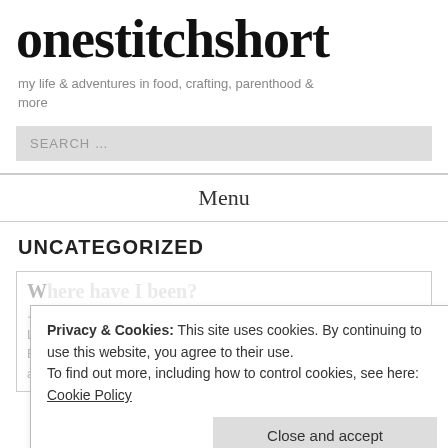onestitchshort
my life & adventures in food, crafting, parenthood & more
SEARCH …
Menu
UNCATEGORIZED
Privacy & Cookies: This site uses cookies. By continuing to use this website, you agree to their use.
To find out more, including how to control cookies, see here: Cookie Policy
Close and accept